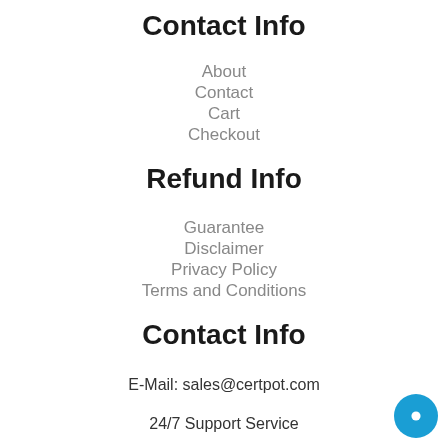Contact Info
About
Contact
Cart
Checkout
Refund Info
Guarantee
Disclaimer
Privacy Policy
Terms and Conditions
Contact Info
E-Mail: sales@certpot.com
24/7 Support Service